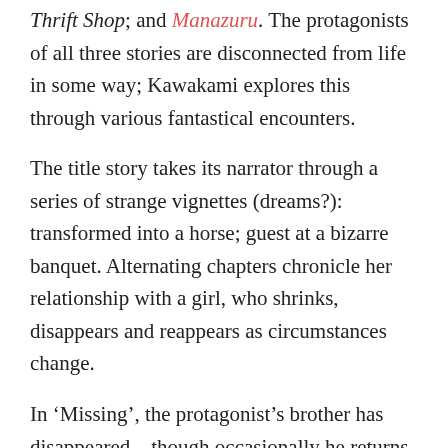Thrift Shop; and Manazuru. The protagonists of all three stories are disconnected from life in some way; Kawakami explores this through various fantastical encounters.
The title story takes its narrator through a series of strange vignettes (dreams?): transformed into a horse; guest at a bizarre banquet. Alternating chapters chronicle her relationship with a girl, who shrinks, disappears and reappears as circumstances change.
In 'Missing', the protagonist's brother has disappeared – though occasionally he returns, and only she can see him. Now the family is trying to find room for the brother's wife-to-be (who, unbeknownst to her, is now marrying the narrator's other brother). There's a deadpan quality to this story which offsets the